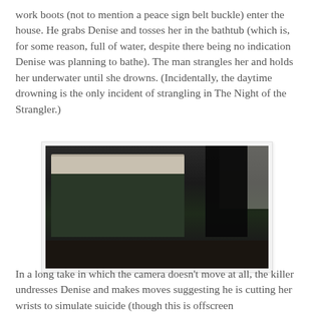work boots (not to mention a peace sign belt buckle) enter the house. He grabs Denise and tosses her in the bathtub (which is, for some reason, full of water, despite there being no indication Denise was planning to bathe). The man strangles her and holds her underwater until she drowns. (Incidentally, the daytime drowning is the only incident of strangling in The Night of the Strangler.)
[Figure (photo): Dark, shadowy photograph showing a figure in black standing over a bathtub in a bathroom. The bathtub edge is visible, tiled walls in background. Low-light scene.]
In a long take in which the camera doesn't move at all, the killer undresses Denise and makes moves suggesting he is cutting her wrists to simulate suicide (though this is offscreen